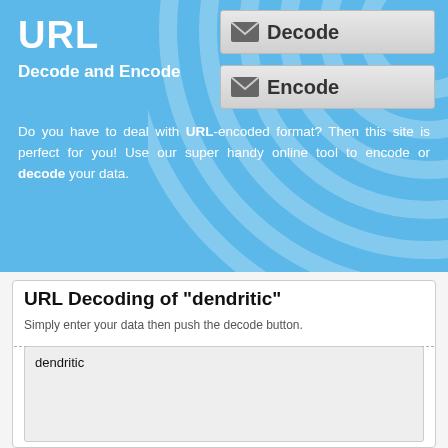URL
Decode and Encode
[Figure (other): Decode button with envelope icon]
[Figure (other): Encode button with envelope icon]
Do you have to deal with URL-encoded format? Then this site is perfect for you! Use our super handy online tool to encode or decode your data.
URL Decoding of "dendritic"
Simply enter your data then push the decode button.
dendritic